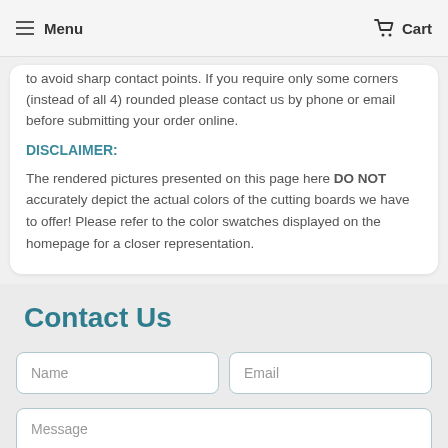Menu   Cart
to avoid sharp contact points. If you require only some corners (instead of all 4) rounded please contact us by phone or email before submitting your order online.
DISCLAIMER:
The rendered pictures presented on this page here DO NOT accurately depict the actual colors of the cutting boards we have to offer! Please refer to the color swatches displayed on the homepage for a closer representation.
Contact Us
Name
Email
Message